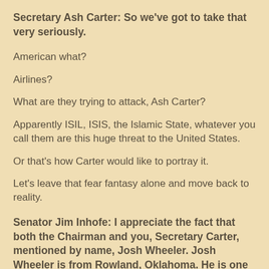Secretary Ash Carter:  So we've got to take that very seriously.
American what?
Airlines?
What are they trying to attack, Ash Carter?
Apparently ISIL, ISIS, the Islamic State, whatever you call them are this huge threat to the United States.
Or that's how Carter would like to portray it.
Let's leave that fear fantasy alone and move back to reality.
Senator Jim Inhofe: I appreciate the fact that both the Chairman and you, Secretary Carter, mentioned by name, Josh Wheeler.  Josh Wheeler is from Rowland, Oklahoma.  He is one who certainly.  He was a hero.